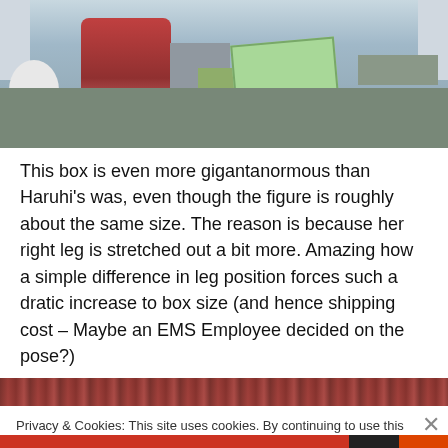[Figure (illustration): Anime scene showing a figure in red seated at or near a desk/chair with a green bag/box on a table, gray chair, white stool on left, curtains in background]
This box is even more gigantanormous than Haruhi's was, even though the figure is roughly about the same size. The reason is because her right leg is stretched out a bit more. Amazing how a simple difference in leg position forces such a dratic increase to box size (and hence shipping cost – Maybe an EMS Employee decided on the pose?)
[Figure (screenshot): Cookie consent overlay banner with privacy notice and Close and accept button, overlaid on partial anime screenshot]
Privacy & Cookies: This site uses cookies. By continuing to use this website, you agree to their use.
To find out more, including how to control cookies, see here: Cookie Policy